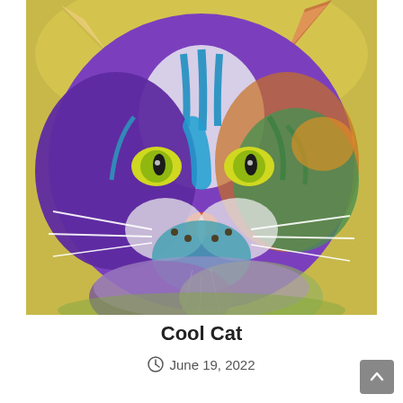[Figure (illustration): A colorful pop-art style illustration of a cat's face, rendered with vibrant purple, blue, green, orange, and yellow colors on a yellow-green background. The cat has striking green eyes and white whiskers, with a highly stylized multi-color fur pattern.]
Cool Cat
June 19, 2022